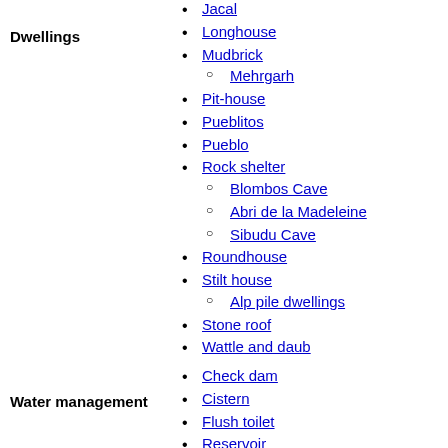Dwellings
Jacal
Longhouse
Mudbrick
Mehrgarh
Pit-house
Pueblitos
Pueblo
Rock shelter
Blombos Cave
Abri de la Madeleine
Sibudu Cave
Roundhouse
Stilt house
Alp pile dwellings
Stone roof
Wattle and daub
Water management
Check dam
Cistern
Flush toilet
Reservoir
Well
Archaeological features
Broch